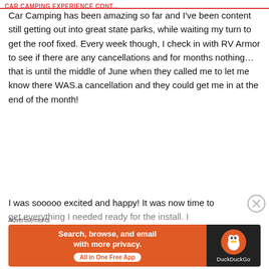CAR CAMPING EXPERIENCE CONT...
Car Camping has been amazing so far and I've been content still getting out into great state parks, while waiting my turn to get the roof fixed. Every week though, I check in with RV Armor to see if there are any cancellations and for months nothing… that is until the middle of June when they called me to let me know there WAS.a cancellation and they could get me in at the end of the month!
I was sooooo excited and happy! It was now time to get everything I needed ready for the install. I
Advertisements
[Figure (screenshot): DuckDuckGo advertisement banner: orange left section with text 'Search, browse, and email with more privacy. All in One Free App' and dark right section with DuckDuckGo duck logo and brand name.]